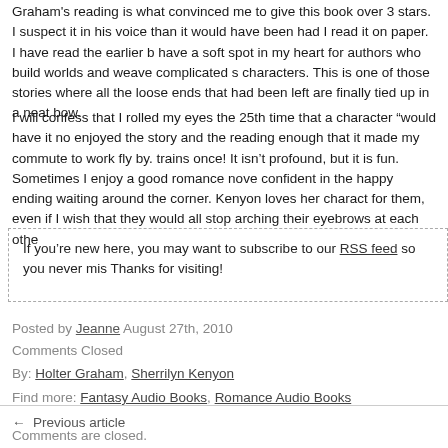Graham's reading is what convinced me to give this book over 3 stars. I suspect it in his voice than it would have been had I read it on paper. I have read the earlier b have a soft spot in my heart for authors who build worlds and weave complicated s characters. This is one of those stories where all the loose ends that had been left are finally tied up in a neat bow.
I will confess that I rolled my eyes the 25th time that a character "would have it no enjoyed the story and the reading enough that it made my commute to work fly by. trains once! It isn't profound, but it is fun. Sometimes I enjoy a good romance nove confident in the happy ending waiting around the corner. Kenyon loves her charact for them, even if I wish that they would all stop arching their eyebrows at each othe
If you're new here, you may want to subscribe to our RSS feed so you never mis Thanks for visiting!
Posted by Jeanne August 27th, 2010
Comments Closed
By: Holter Graham, Sherrilyn Kenyon
Find more: Fantasy Audio Books, Romance Audio Books
← Previous article
Comments are closed.